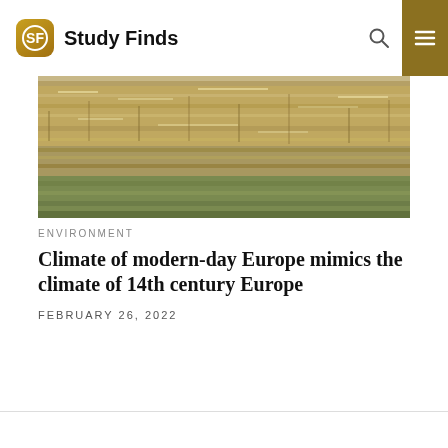Study Finds
[Figure (photo): Close-up photograph of a dry, frost-covered or drought-stricken field with brown/golden dry grasses and some green foliage at the bottom]
ENVIRONMENT
Climate of modern-day Europe mimics the climate of 14th century Europe
FEBRUARY 26, 2022